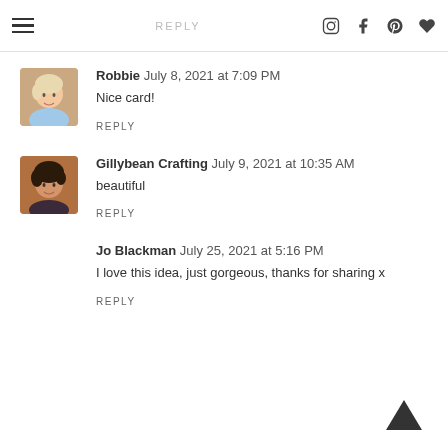REPLY
Robbie  July 8, 2021 at 7:09 PM
Nice card!
REPLY
Gillybean Crafting  July 9, 2021 at 10:35 AM
beautiful
REPLY
Jo Blackman  July 25, 2021 at 5:16 PM
I love this idea, just gorgeous, thanks for sharing x
REPLY